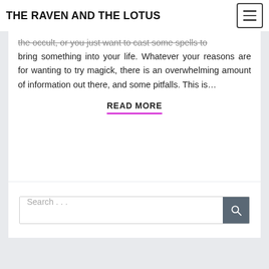THE RAVEN AND THE LOTUS
the occult, or you just want to cast some spells to bring something into your life. Whatever your reasons are for wanting to try magick, there is an overwhelming amount of information out there, and some pitfalls. This is…
READ MORE